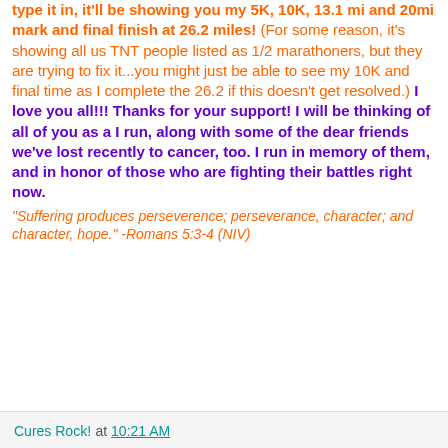type it in, it'll be showing you my 5K, 10K, 13.1 mi and 20mi mark and final finish at 26.2 miles! (For some reason, it's showing all us TNT people listed as 1/2 marathoners, but they are trying to fix it...you might just be able to see my 10K and final time as I complete the 26.2 if this doesn't get resolved.) I love you all!!! Thanks for your support! I will be thinking of all of you as a I run, along with some of the dear friends we've lost recently to cancer, too. I run in memory of them, and in honor of those who are fighting their battles right now.
"Suffering produces perseverence; perseverance, character; and character, hope." -Romans 5:3-4 (NIV)
Cures Rock! at 10:21 AM